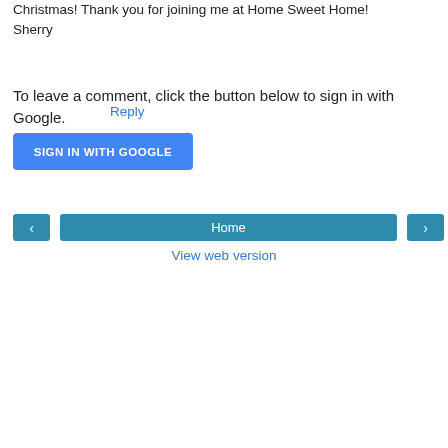Christmas! Thank you for joining me at Home Sweet Home! Sherry
Reply
To leave a comment, click the button below to sign in with Google.
[Figure (other): Blue button labeled SIGN IN WITH GOOGLE]
[Figure (other): Navigation bar with left arrow button, Home button, and right arrow button]
View web version